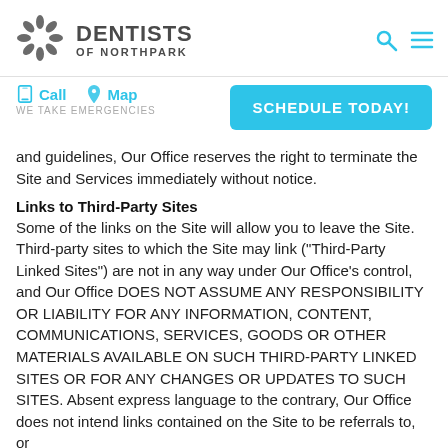[Figure (logo): Dentists of Northpark logo with sunburst/flower icon in gray and text 'DENTISTS OF NORTHPARK']
Call   Map   WE TAKE EMERGENCIES   SCHEDULE TODAY!
and guidelines, Our Office reserves the right to terminate the Site and Services immediately without notice.
Links to Third-Party Sites
Some of the links on the Site will allow you to leave the Site. Third-party sites to which the Site may link ("Third-Party Linked Sites") are not in any way under Our Office's control, and Our Office DOES NOT ASSUME ANY RESPONSIBILITY OR LIABILITY FOR ANY INFORMATION, CONTENT, COMMUNICATIONS, SERVICES, GOODS OR OTHER MATERIALS AVAILABLE ON SUCH THIRD-PARTY LINKED SITES OR FOR ANY CHANGES OR UPDATES TO SUCH SITES. Absent express language to the contrary, Our Office does not intend links contained on the Site to be referrals to, or